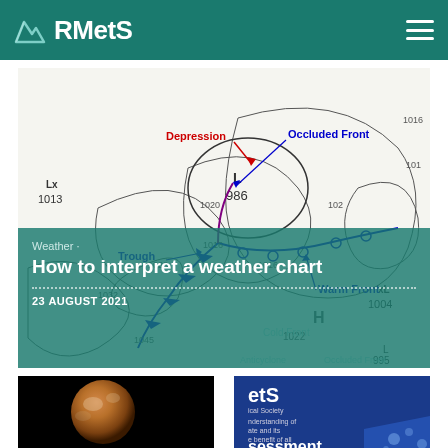RMetS
[Figure (photo): A synoptic weather chart showing isobars, pressure systems, and annotated weather fronts including Depression (L, 986), Occluded Front, Trough, Warm Front, Cold Front, Anticyclone, with pressure values 1013, 1016, 1004, 995, 1022, 1032, 1020, 1028 labeled across the map]
Weather ·
How to interpret a weather chart
23 AUGUST 2021
[Figure (photo): Close-up image of a planet (appears to be Titan or similar moon) against a black background, showing an orange/brown sphere]
[Figure (screenshot): RMetS branded material on blue background showing partial text: 'etS', 'ical Society', 'understanding of', 'ate and its', 'e benefit of all', and 'sessment' at bottom, with water droplets visible]